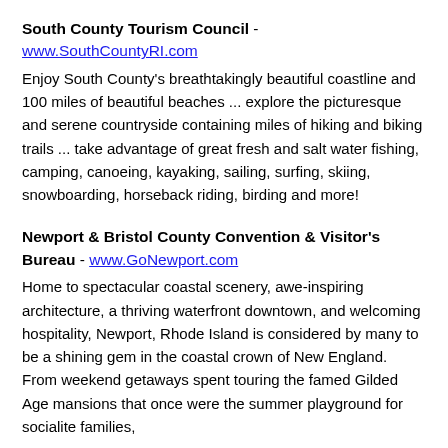South County Tourism Council - www.SouthCountyRI.com Enjoy South County's breathtakingly beautiful coastline and 100 miles of beautiful beaches ... explore the picturesque and serene countryside containing miles of hiking and biking trails ... take advantage of great fresh and salt water fishing, camping, canoeing, kayaking, sailing, surfing, skiing, snowboarding, horseback riding, birding and more!
Newport & Bristol County Convention & Visitor's Bureau - www.GoNewport.com Home to spectacular coastal scenery, awe-inspiring architecture, a thriving waterfront downtown, and welcoming hospitality, Newport, Rhode Island is considered by many to be a shining gem in the coastal crown of New England. From weekend getaways spent touring the famed Gilded Age mansions that once were the summer playground for socialite families, to...